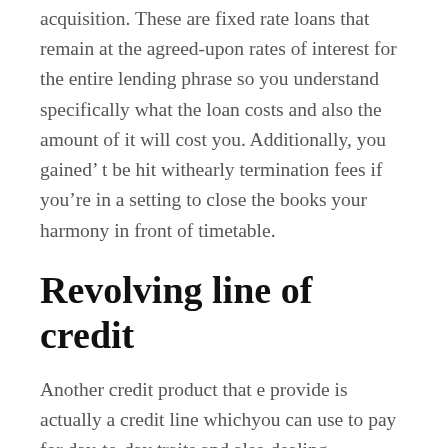acquisition. These are fixed rate loans that remain at the agreed-upon rates of interest for the entire lending phrase so you understand specifically what the loan costs and also the amount of it will cost you. Additionally, you gained't be hit withearly termination fees if you're in a setting to close the books your harmony in front of timetable.
Revolving line of credit
Another credit product that e provide is actually a credit line whichyou can use to pay for day-to-day traits and also dealing withunpredicted bills. It operates likewise to a bank card and quick cashloan when you require it. Along withMyOzMoney's credit line, you are actually pre-approved for up to $15,000 that you may opt for to attract down anywhere you are actually as well as during the time you need to have cashmoney. The minimum volume you can pull down at any moment is actually $one hundred